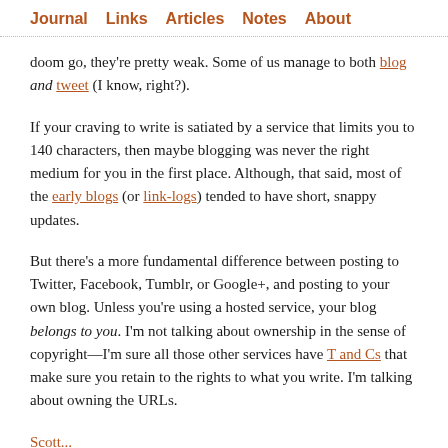Journal  Links  Articles  Notes  About
doom go, they're pretty weak. Some of us manage to both blog and tweet (I know, right?).
If your craving to write is satiated by a service that limits you to 140 characters, then maybe blogging was never the right medium for you in the first place. Although, that said, most of the early blogs (or link-logs) tended to have short, snappy updates.
But there's a more fundamental difference between posting to Twitter, Facebook, Tumblr, or Google+, and posting to your own blog. Unless you're using a hosted service, your blog belongs to you. I'm not talking about ownership in the sense of copyright—I'm sure all those other services have T and Cs that make sure you retain to the rights to what you write. I'm talking about owning the URLs.
Scott...